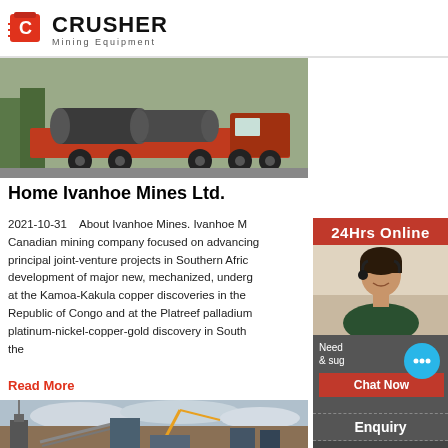CRUSHER Mining Equipment
[Figure (photo): Large industrial cylindrical equipment loaded on a red flatbed truck, outdoor setting]
Home Ivanhoe Mines Ltd.
2021-10-31   About Ivanhoe Mines. Ivanhoe Mines is a Canadian mining company focused on advancing its principal joint-venture projects in Southern Africa: the development of major new, mechanized, underground mines at the Kamoa-Kakula copper discoveries in the Democratic Republic of Congo and at the Platreef palladium-rhodium-platinum-nickel-copper-gold discovery in South Africa and the
Read More
[Figure (photo): Open pit mining site with industrial equipment and machinery, overcast sky]
[Figure (photo): Customer service representative woman with headset - 24Hrs Online chat sidebar]
Need & suggestions
Chat Now
Enquiry
limingjlmofen@sina.com